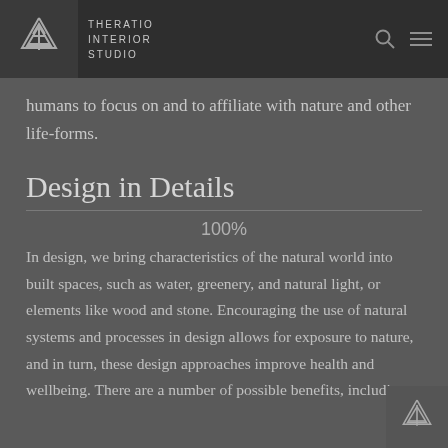THERATIO INTERIOR STUDIO
humans to focus on and to affiliate with nature and other life-forms.
Design in Details
100%
In design, we bring characteristics of the natural world into built spaces, such as water, greenery, and natural light, or elements like wood and stone. Encouraging the use of natural systems and processes in design allows for exposure to nature, and in turn, these design approaches improve health and wellbeing. There are a number of possible benefits, including